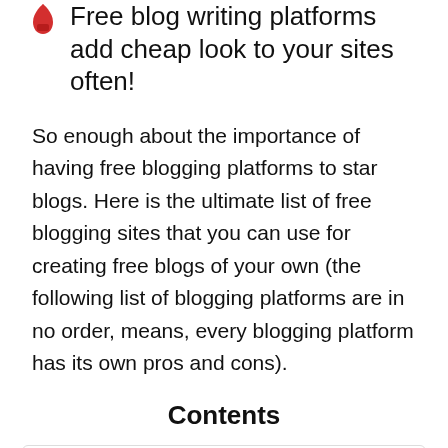Free blog writing platforms add cheap look to your sites often!
So enough about the importance of having free blogging platforms to star blogs. Here is the ultimate list of free blogging sites that you can use for creating free blogs of your own (the following list of blogging platforms are in no order, means, every blogging platform has its own pros and cons).
Contents
Top 15 Free Blog Sites List for Creating Personal Blog